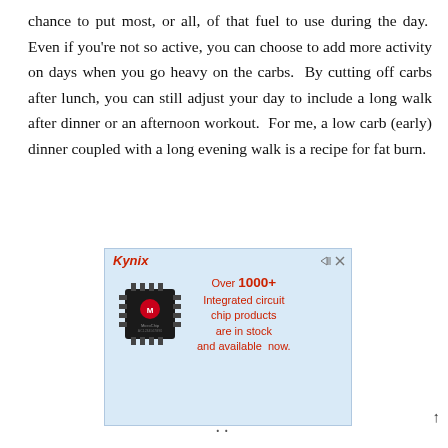chance to put most, or all, of that fuel to use during the day. Even if you're not so active, you can choose to add more activity on days when you go heavy on the carbs. By cutting off carbs after lunch, you can still adjust your day to include a long walk after dinner or an afternoon workout. For me, a low carb (early) dinner coupled with a long evening walk is a recipe for fat burn.
[Figure (other): Kynix advertisement banner featuring a Microchip integrated circuit chip image on the left and text reading 'Over 1000+ Integrated circuit chip products are in stock and available now.' on the right, on a light blue background.]